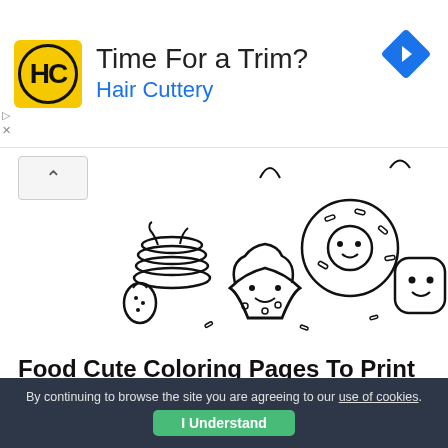[Figure (other): Hair Cuttery advertisement banner with yellow logo, 'Time For a Trim?' headline, 'Hair Cuttery' subtext in blue, and a blue diamond navigation arrow icon on the right.]
[Figure (illustration): Kawaii-style black and white coloring page illustration featuring cute food characters including a cupcake, donut, pancake stack, strawberry, and marshmallow with faces.]
Food Cute Coloring Pages To Print
By sheapeterson    Posted on January 31, 2022
Cute food coloring pages. Cute kawaii food coloring pages are a fun way for kids of all ages to develop […]
By continuing to browse the site you are agreeing to our use of cookies. I Understand